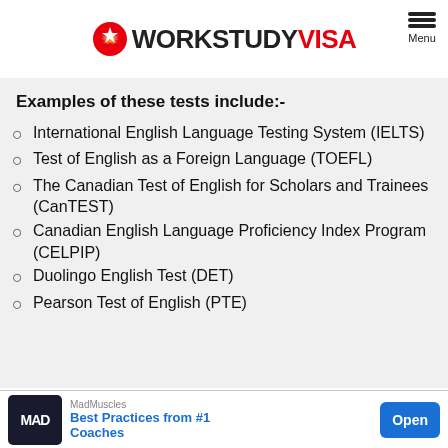WORKSTUDY VISA
Examples of these tests include:-
International English Language Testing System (IELTS)
Test of English as a Foreign Language (TOEFL)
The Canadian Test of English for Scholars and Trainees (CanTEST)
Canadian English Language Proficiency Index Program (CELPIP)
Duolingo English Test (DET)
Pearson Test of English (PTE)
[Figure (infographic): Advertisement banner for MadMuscles: Best Practices from #1 Coaches, with Open button]